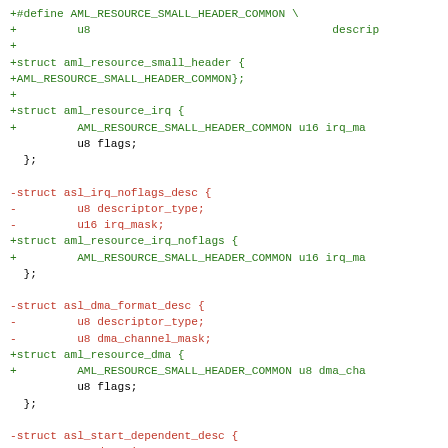Code diff showing additions (+, green) and removals (-, red) of struct definitions in AML resource header C code